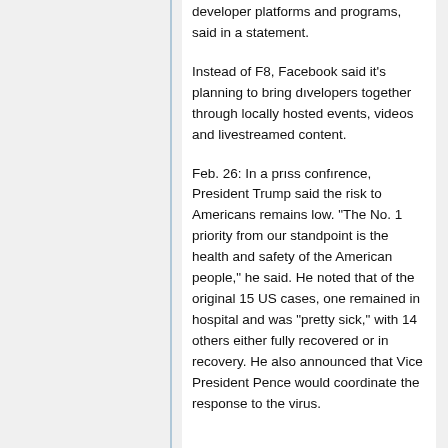developer platforms and programs, said in a statement.
Instead of F8, Facebook said it's planning to bring developers together through locally hosted events, videos and livestreamed content.
Feb. 26: In a press conference, President Trump said the risk to Americans remains low. "The No. 1 priority from our standpoint is the health and safety of the American people," he said. He noted that of the original 15 US cases, one remained in hospital and was "pretty sick," with 14 others either fully recovered or in recovery. He also announced that Vice President Pence would coordinate the response to the virus.